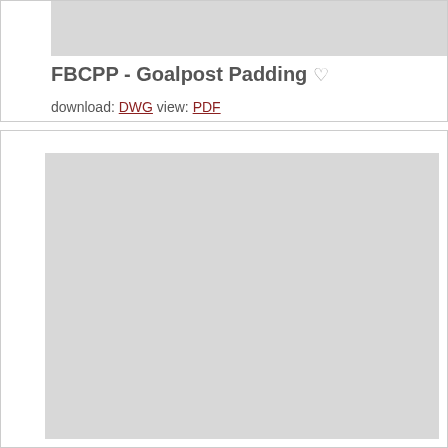[Figure (other): Gray placeholder image thumbnail at top of first card]
FBCPP - Goalpost Padding ♡
download: DWG  view: PDF
[Figure (engineering-diagram): Large gray placeholder image showing engineering diagram for FBCPP Goalpost Padding]